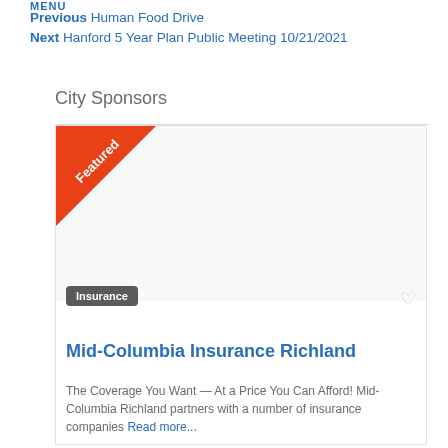MENU
Previous Human Food Drive
Next Hanford 5 Year Plan Public Meeting 10/21/2021
City Sponsors
[Figure (infographic): Sponsor card for Mid-Columbia Insurance Richland with a Featured ribbon badge in the top-left corner, an Insurance tag, a heart icon, the business name, and a description snippet.]
Mid-Columbia Insurance Richland
The Coverage You Want — At a Price You Can Afford! Mid-Columbia Richland partners with a number of insurance companies Read more...